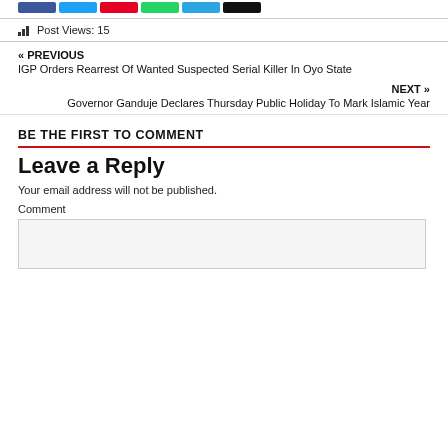[Figure (other): Social share buttons: Facebook (blue), Twitter (light blue), Pinterest (red), WhatsApp (green), Telegram (light blue), Copy (black)]
Post Views: 15
« PREVIOUS
IGP Orders Rearrest Of Wanted Suspected Serial Killer In Oyo State
NEXT »
Governor Ganduje Declares Thursday Public Holiday To Mark Islamic Year
BE THE FIRST TO COMMENT
Leave a Reply
Your email address will not be published.
Comment